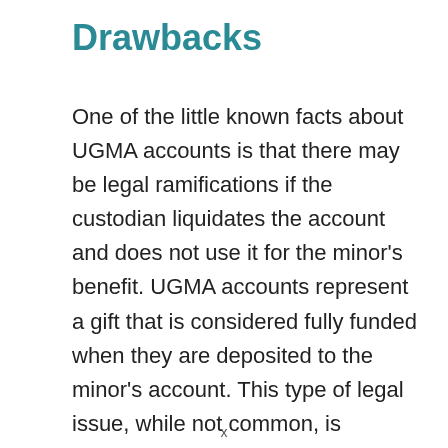Drawbacks
One of the little known facts about UGMA accounts is that there may be legal ramifications if the custodian liquidates the account and does not use it for the minor's benefit. UGMA accounts represent a gift that is considered fully funded when they are deposited to the minor's account. This type of legal issue, while not common, is certainly possible. The minor, their guardian or their parent may take legal action against the custodian (if they are a grandparent, or other custodian). This is important
x